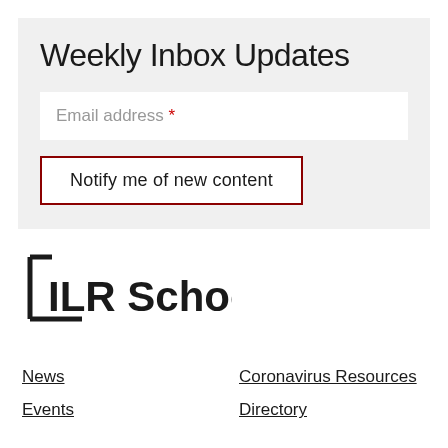Weekly Inbox Updates
Email address *
Notify me of new content
[Figure (logo): ILR School logo with bold text and bracket-style left border mark]
News
Events
Coronavirus Resources
Directory